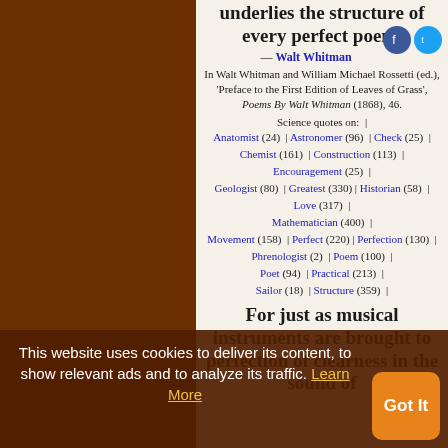underlies the structure of every perfect poem.
— Walt Whitman
In Walt Whitman and William Michael Rossetti (ed.), 'Preface to the First Edition of Leaves of Grass', Poems By Walt Whitman (1868), 46.
Science quotes on:  |
Anatomist (24)  |  Astronomer (96)  |  Check (25)  |  Chemist (161)  |  Construction (113)  |  Encouragement (25)  |  Geologist (80)  |  Greatest (330)  |  Historian (58)  |  Love (317)  |  Mathematician (400)  |  Movement (158)  |  Perfect (220)  |  Perfection (130)  |  Phrenologist (2)  |  Poem (100)  |  Poet (94)  |  Practical (213)  |  Sailor (18)  |  Structure (359)  |  Support (149)  |  Traveler (32)  |  Underlie (19)
For just as musical instruments are brought to perfection of clearness in the sound of
This website uses cookies to deliver its content, to show relevant ads and to analyze its traffic. Learn More